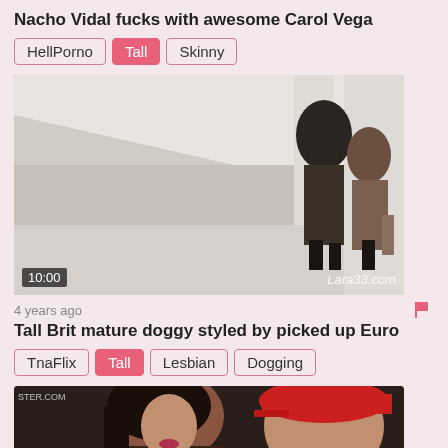Nacho Vidal fucks with awesome Carol Vega
HellPorno | Tall | Skinny
[Figure (photo): Video thumbnail showing two people in an intimate scene in a white room, with 10:00 duration overlay and Lara33.com watermark]
4 years ago
Tall Brit mature doggy styled by picked up Euro
TnaFlix | Tall | Lesbian | Dogging
[Figure (photo): Partial video thumbnail showing a woman with dark hair and a person in a red cap]